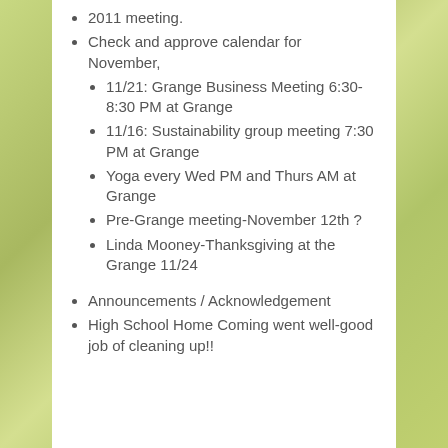2011 meeting.
Check and approve calendar for November,
11/21: Grange Business Meeting 6:30-8:30 PM at Grange
11/16: Sustainability group meeting 7:30 PM at Grange
Yoga every Wed PM and Thurs AM at Grange
Pre-Grange meeting-November 12th ?
Linda Mooney-Thanksgiving at the Grange 11/24
Announcements / Acknowledgement
High School Home Coming went well-good job of cleaning up!!